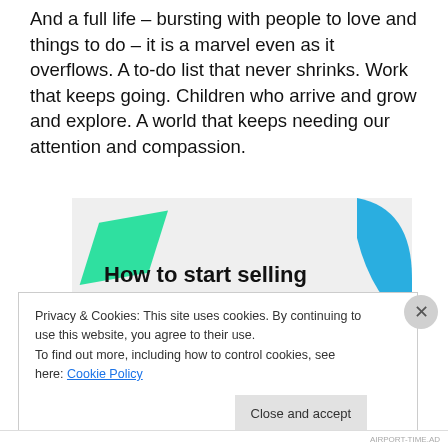And a full life – bursting with people to love and things to do – it is a marvel even as it overflows. A to-do list that never shrinks. Work that keeps going. Children who arrive and grow and explore. A world that keeps needing our attention and compassion.
[Figure (infographic): Advertisement banner with light gray background, a green triangle/arrow shape on the upper left, a blue curved shape on the right, and bold text reading 'How to start selling subscriptions online']
Privacy & Cookies: This site uses cookies. By continuing to use this website, you agree to their use.
To find out more, including how to control cookies, see here: Cookie Policy
Close and accept